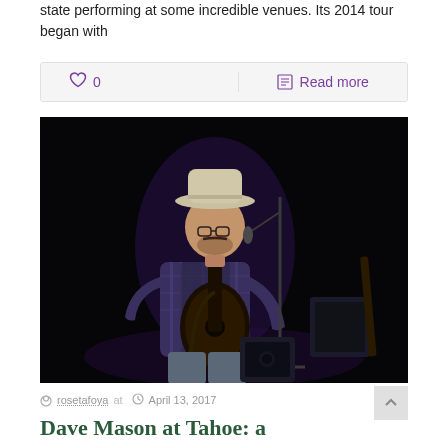state performing at some incredible venues. Its 2014 tour began with
♡ 0   Read more
[Figure (photo): A male performer on stage wearing a white cowboy hat, glasses, and a striped plaid shirt, playing a 12-string guitar at a microphone stand. Dark background. Stage equipment visible in background.]
rosetafoya at  April 13, 2017
Dave Mason at Tahoe: a